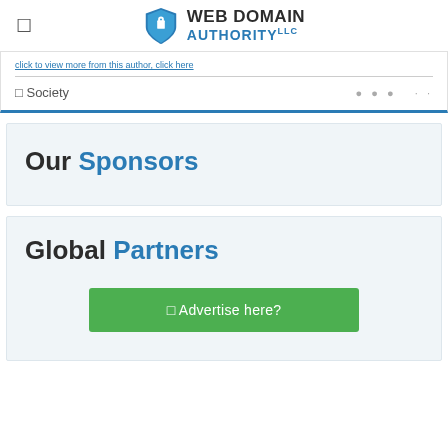WEB DOMAIN AUTHORITY LLC
... (truncated blue link text) ...
Society
Our Sponsors
Global Partners
Advertise here?